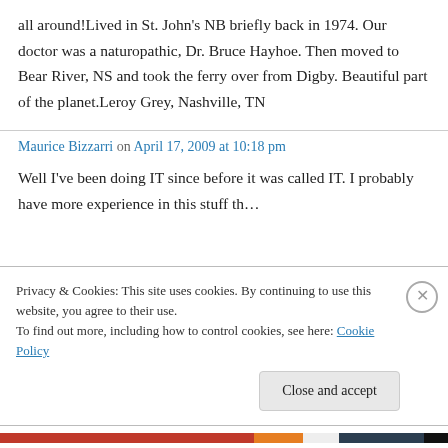all around!Lived in St. John's NB briefly back in 1974. Our doctor was a naturopathic, Dr. Bruce Hayhoe. Then moved to Bear River, NS and took the ferry over from Digby. Beautiful part of the planet.Leroy Grey, Nashville, TN
Maurice Bizzarri on April 17, 2009 at 10:18 pm
Well I've been doing IT since before it was called IT. I probably have more experience in this stuff than...
Privacy & Cookies: This site uses cookies. By continuing to use this website, you agree to their use. To find out more, including how to control cookies, see here: Cookie Policy